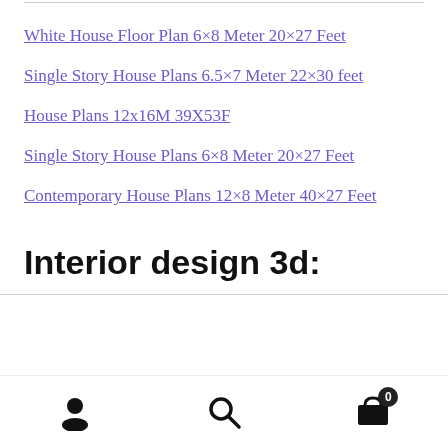White House Floor Plan 6×8 Meter 20×27 Feet
Single Story House Plans 6.5×7 Meter 22×30 feet
House Plans 12x16M 39X53F
Single Story House Plans 6×8 Meter 20×27 Feet
Contemporary House Plans 12×8 Meter 40×27 Feet
Interior design 3d:
User | Search | Cart (0)